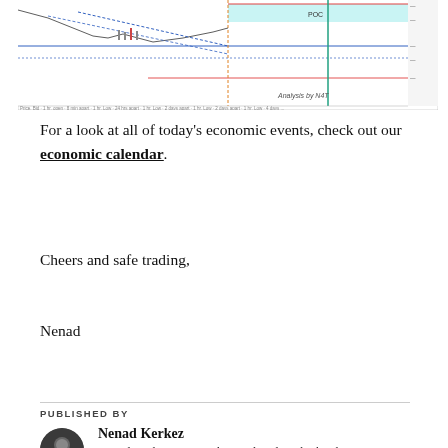[Figure (screenshot): Financial chart showing price levels, POC marker, horizontal lines including red and blue levels, and diagonal trend lines with 'Analysis by N4T' watermark.]
For a look at all of today's economic events, check out our economic calendar.
Cheers and safe trading,
Nenad
PUBLISHED BY
Nenad Kerkez
Nenad Kerkez is an analyst and trader who has been in